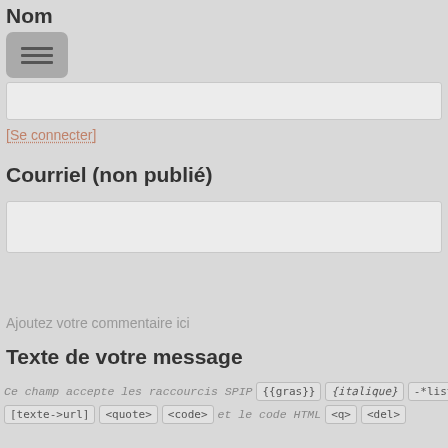Nom
[Figure (screenshot): Menu/hamburger button icon, grey rounded rectangle with three horizontal lines]
[Se connecter]
Courriel (non publié)
Ajoutez votre commentaire ici
Texte de votre message
Ce champ accepte les raccourcis SPIP  {{gras}}  {italique}  -*liste  [texte->url]  <quote>  <code>  et le code HTML  <q>  <del>